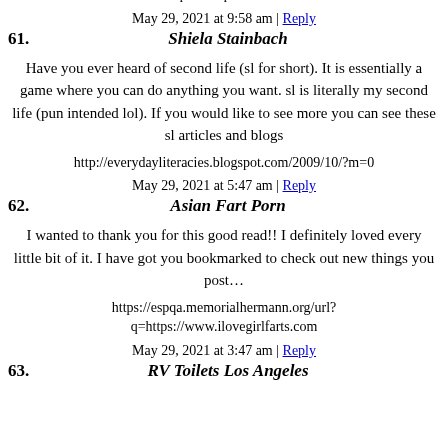http://shopinaysleuish/Localization/SetCurrency/SET?returnUrl=http://commercialvanrepairshop.com/frame-repair-shop-near-me
May 29, 2021 at 9:58 am | Reply
61. Shiela Stainbach
Have you ever heard of second life (sl for short). It is essentially a game where you can do anything you want. sl is literally my second life (pun intended lol). If you would like to see more you can see these sl articles and blogs
http://everydayliteracies.blogspot.com/2009/10/?m=0
May 29, 2021 at 5:47 am | Reply
62. Asian Fart Porn
I wanted to thank you for this good read!! I definitely loved every little bit of it. I have got you bookmarked to check out new things you post…
https://espqa.memorialhermann.org/url?q=https://www.ilovegirlfarts.com
May 29, 2021 at 3:47 am | Reply
63. RV Toilets Los Angeles